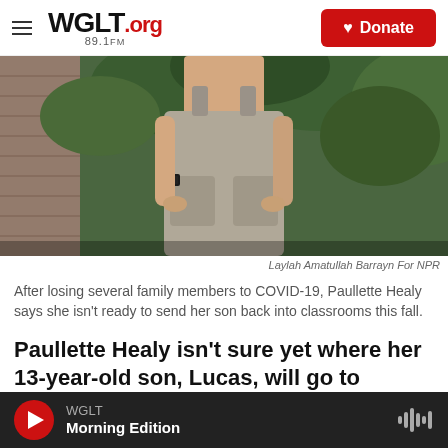WGLT.org 89.1FM | Donate
[Figure (photo): Woman wearing gray overalls standing outdoors in front of lush green plants and a brick wall, hands in pockets, wearing a smartwatch.]
Laylah Amatullah Barrayn For NPR
After losing several family members to COVID-19, Paullette Healy says she isn't ready to send her son back into classrooms this fall.
Paullette Healy isn't sure yet where her 13-year-old son, Lucas, will go to school this fall.
WGLT  Morning Edition